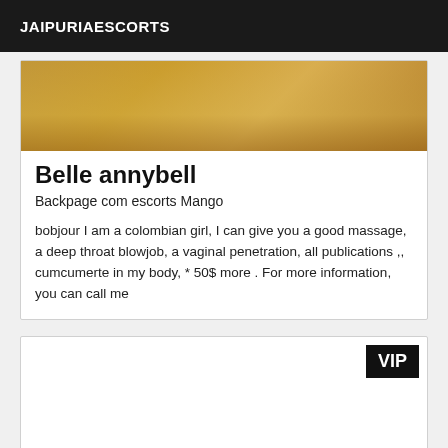JAIPURIAESCORTS
[Figure (photo): Partial photo of a person in a warm yellow-lit room]
Belle annybell
Backpage com escorts Mango
bobjour I am a colombian girl, I can give you a good massage, a deep throat blowjob, a vaginal penetration, all publications ,, cumcumerte in my body, * 50$ more . For more information, you can call me
[Figure (other): White card area with VIP badge in top right corner]